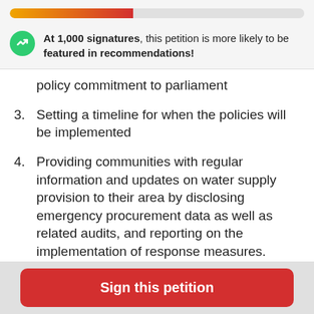[Figure (infographic): Progress bar showing gradient from orange to dark red, partially filled (about 42%)]
At 1,000 signatures, this petition is more likely to be featured in recommendations!
policy commitment to parliament
3. Setting a timeline for when the policies will be implemented
4. Providing communities with regular information and updates on water supply provision to their area by disclosing emergency procurement data as well as related audits, and reporting on the implementation of response measures.
Sign this petition